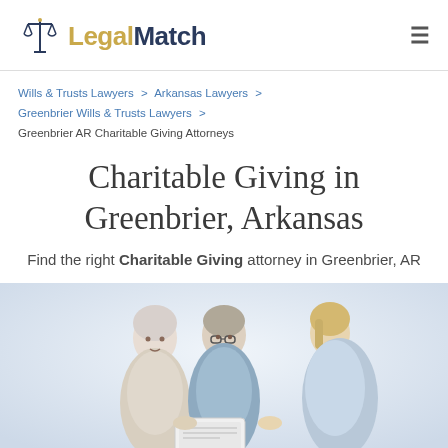LegalMatch
Wills & Trusts Lawyers > Arkansas Lawyers > Greenbrier Wills & Trusts Lawyers > Greenbrier AR Charitable Giving Attorneys
Charitable Giving in Greenbrier, Arkansas
Find the right Charitable Giving attorney in Greenbrier, AR
[Figure (photo): Elderly couple consulting with a female attorney or advisor, sitting together reviewing documents]